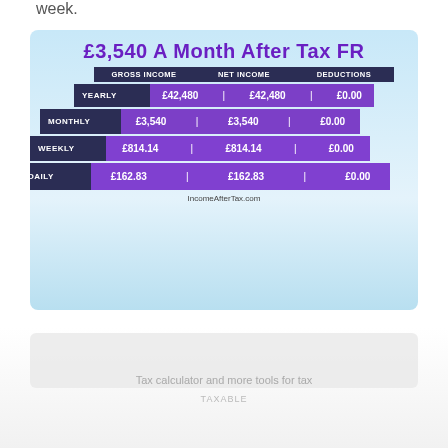week.
[Figure (infographic): £3,540 A Month After Tax FR infographic showing a pyramid/staircase table with Gross Income, Net Income, and Deductions for Yearly, Monthly, Weekly, and Daily periods. Yearly: £42,480 / £42,480 / £0.00. Monthly: £3,540 / £3,540 / £0.00. Weekly: £814.14 / £814.14 / £0.00. Daily: £162.83 / £162.83 / £0.00. Source: IncomeAfterTax.com]
IncomeAfterTax.com